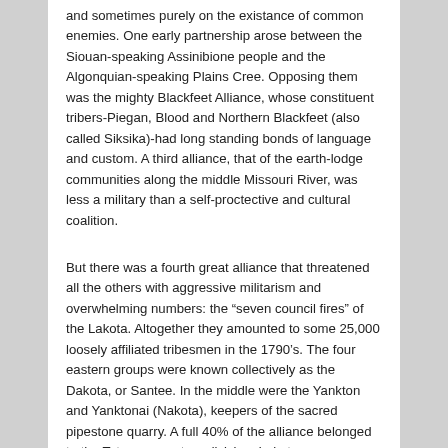and sometimes purely on the existance of common enemies. One early partnership arose between the Siouan-speaking Assinibione people and the Algonquian-speaking Plains Cree. Opposing them was the mighty Blackfeet Alliance, whose constituent tribers-Piegan, Blood and Northern Blackfeet (also called Siksika)-had long standing bonds of language and custom. A third alliance, that of the earth-lodge communities along the middle Missouri River, was less a military than a self-proctective and cultural coalition.
But there was a fourth great alliance that threatened all the others with aggressive militarism and overwhelming numbers: the “seven council fires” of the Lakota. Altogether they amounted to some 25,000 loosely affiliated tribesmen in the 1790’s. The four eastern groups were known collectively as the Dakota, or Santee. In the middle were the Yankton and Yanktonai (Nakota), keepers of the sacred pipestone quarry. A full 40% of the alliance belonged to the Teton, or western division, Lakota.